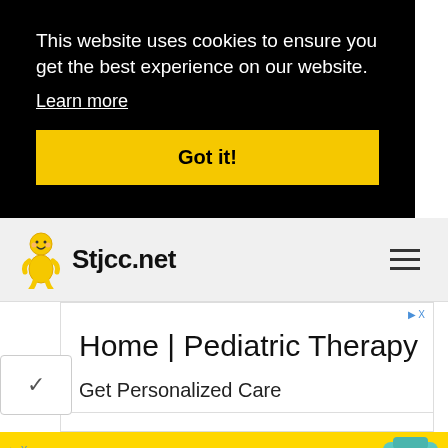This website uses cookies to ensure you get the best experience on our website.
Learn more
Got it!
[Figure (logo): Stjcc.net website logo with baby icon and site name]
[Figure (screenshot): Advertisement: Home | Pediatric Therapy - Get Personalized Care]
[Figure (infographic): Bottom banner ad: TOP BRANDS & UNIQUE FINDS - Daily deals up to 70% off - Zulily]